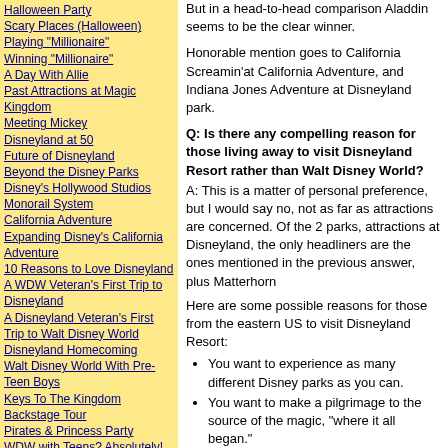Halloween Party
Scary Places (Halloween)
Playing "Millionaire"
Winning "Millionaire"
A Day With Allie
Past Attractions at Magic Kingdom
Meeting Mickey
Disneyland at 50
Future of Disneyland
Beyond the Disney Parks
Disney's Hollywood Studios
Monorail System
California Adventure
Expanding Disney's California Adventure
10 Reasons to Love Disneyland
A WDW Veteran's First Trip to Disneyland
A Disneyland Veteran's First Trip to Walt Disney World
Disneyland Homecoming
Walt Disney World With Pre-Teen Boys
Keys To The Kingdom Backstage Tour
Pirates & Princess Party
WDW with Teens? Absolutely!
Dining
Disney Dining Plan
More Dining Plan Tips
Dining Plan Revisited
Dining Plan Answers
Advance Dining Reservation (ADR) Strategies
But in a head-to-head comparison Aladdin seems to be the clear winner.
Honorable mention goes to California Screamin'at California Adventure, and Indiana Jones Adventure at Disneyland park.
Q: Is there any compelling reason for those living away to visit Disneyland Resort rather than Walt Disney World?
A: This is a matter of personal preference, but I would say no, not as far as attractions are concerned. Of the 2 parks, attractions at Disneyland, the only headliners are the ones mentioned in the previous answer, plus Matterhorn
Here are some possible reasons for those from the eastern US to visit Disneyland Resort:
You want to experience as many different Disney parks as you can.
You want to make a pilgrimage to the source of the magic, "where it all began."
You're going to Los Angeles anyway, so why not? All three of these applied to me!
Q: What was better, what was worse, what was a surprise or disappointment?
Better: Park entry -- they just scan the bar code on the Pirates of the Caribbean. It begins in the Park and T